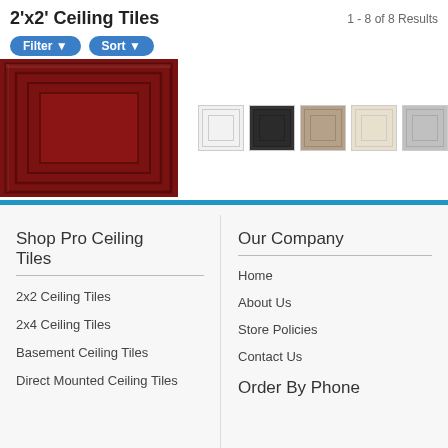2'x2' Ceiling Tiles
1 - 8 of 8 Results
[Figure (screenshot): Product section showing a dark red/burgundy ceiling tile image on the left, and five color swatches (white, dark charcoal, beige/taupe, cream/ivory, light gray) with '+5 MORE' label on the right]
Shop Pro Ceiling Tiles
2x2 Ceiling Tiles
2x4 Ceiling Tiles
Basement Ceiling Tiles
Direct Mounted Ceiling Tiles
Our Company
Home
About Us
Store Policies
Contact Us
Order By Phone